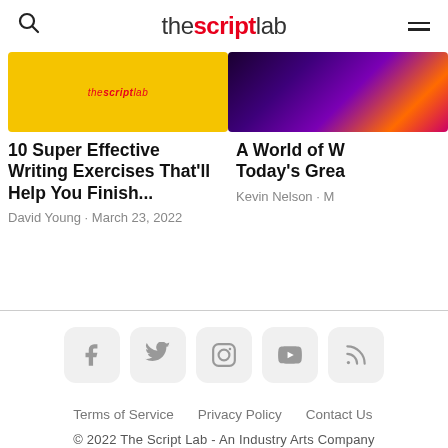the script lab
[Figure (screenshot): Article card with yellow background thumbnail for '10 Super Effective Writing Exercises That'll Help You Finish...' by David Young, March 23, 2022]
10 Super Effective Writing Exercises That'll Help You Finish...
David Young · March 23, 2022
[Figure (screenshot): Article card with dark colorful background thumbnail for 'A World of W... Today's Grea...' by Kevin Nelson]
A World of W... Today's Grea...
Kevin Nelson · M
[Figure (infographic): Social media icons: Facebook, Twitter, Instagram, YouTube, RSS]
Terms of Service   Privacy Policy   Contact Us
© 2022 The Script Lab - An Industry Arts Company